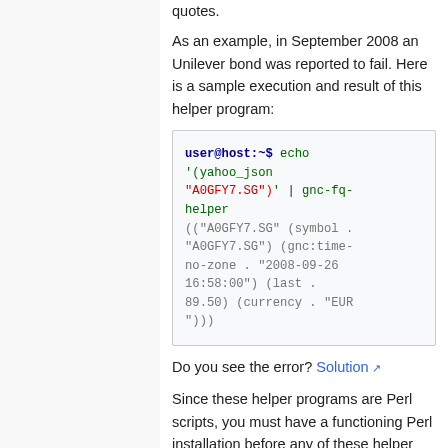quotes.
As an example, in September 2008 an Unilever bond was reported to fail. Here is a sample execution and result of this helper program:
[Figure (screenshot): Terminal code block showing: user@host:~$ echo '(yahoo_json "A0GFY7.SG")' | gnc-fq-helper followed by output (("A0GFY7.SG" (symbol . "A0GFY7.SG") (gnc:time-no-zone . "2008-09-26 16:58:00") (last . 89.50) (currency . "EUR")))]
Do you see the error? Solution
Since these helper programs are Perl scripts, you must have a functioning Perl installation before any of these helper